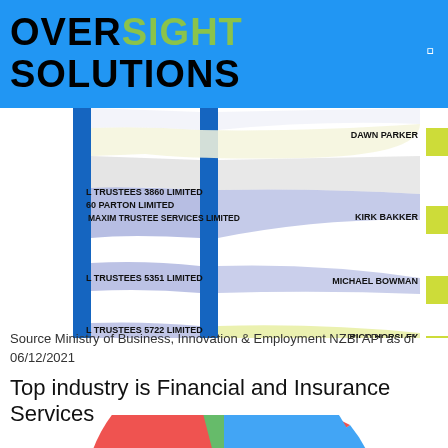OVERSIGHT SOLUTIONS
[Figure (other): Sankey/flow diagram showing connections between trust entities (L TRUSTEES 3860 LIMITED, 60 PARTON LIMITED, MAXIM TRUSTEE SERVICES LIMITED, L TRUSTEES 5351 LIMITED, L TRUSTEES 5722 LIMITED) on the left and individuals (DAWN PARKER, KIRK BAKKER, MICHAEL BOWMAN, RICO HORSLEY) on the right, with blue vertical bars in the middle and yellow rectangles on the right.]
Source Ministry of Business, Innovation & Employment NZBI API as of 06/12/2021
Top industry is Financial and Insurance Services
[Figure (pie-chart): Partial pie chart visible at the bottom of the page, showing segments in blue (largest), red, and green colors. The chart is cut off at the bottom edge.]